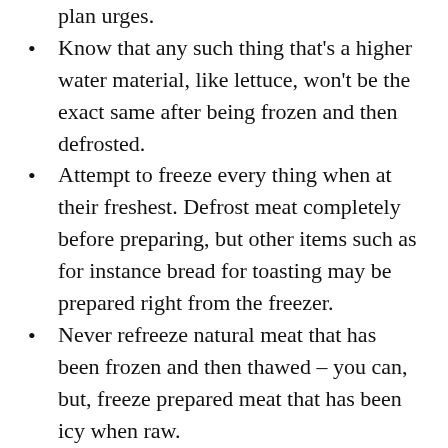plan urges.
Know that any such thing that's a higher water material, like lettuce, won't be the exact same after being frozen and then defrosted.
Attempt to freeze every thing when at their freshest. Defrost meat completely before preparing, but other items such as for instance bread for toasting may be prepared right from the freezer.
Never refreeze natural meat that has been frozen and then thawed – you can, but, freeze prepared meat that has been icy when raw.
Make sure the fridge is not loaded so complete that air can't circulate.